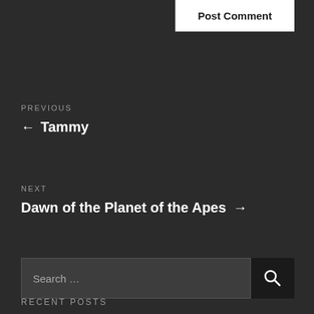Post Comment
PREVIOUS
← Tammy
NEXT
Dawn of the Planet of the Apes →
Search …
RECENT POSTS